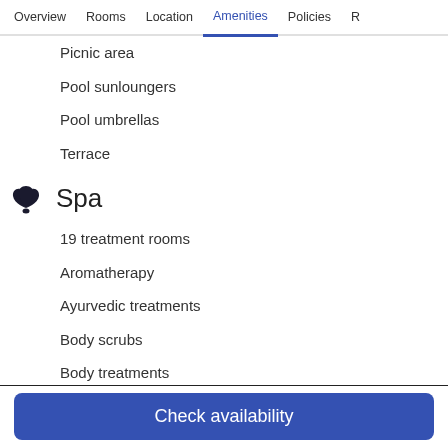Overview | Rooms | Location | Amenities | Policies | R
Picnic area
Pool sunloungers
Pool umbrellas
Terrace
Spa
19 treatment rooms
Aromatherapy
Ayurvedic treatments
Body scrubs
Body treatments
Body wraps
Couples treatment room(s)
Facials
Check availability